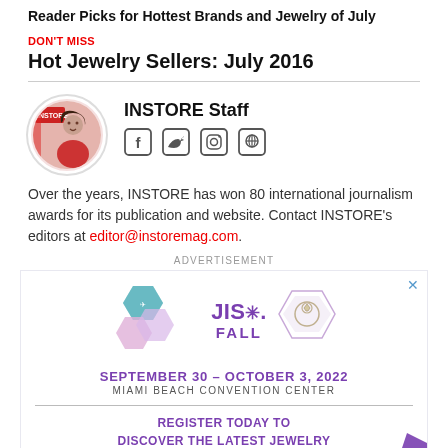Reader Picks for Hottest Brands and Jewelry of July
DON'T MISS
Hot Jewelry Sellers: July 2016
[Figure (photo): Circular avatar photo of INSTORE Staff member, a woman in a red dress with magazine covers in background]
INSTORE Staff
[Figure (other): Social media icons: Facebook, Twitter, Instagram, and a globe/contact icon]
Over the years, INSTORE has won 80 international journalism awards for its publication and website. Contact INSTORE's editors at editor@instoremag.com.
ADVERTISEMENT
[Figure (other): JIS Fall advertisement: hexagon imagery with jewelry photos, JIS Fall logo in purple, dates September 30 – October 3, 2022, Miami Beach Convention Center, and call to action: Register Today to Discover the Latest Jewelry Trends and Services From]